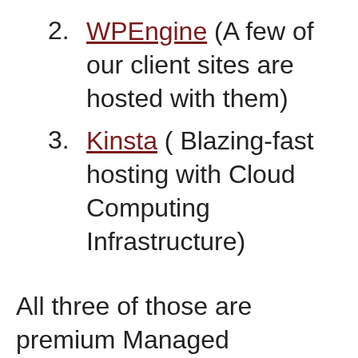2. WPEngine (A few of our client sites are hosted with them)
3. Kinsta ( Blazing-fast hosting with Cloud Computing Infrastructure)
All three of those are premium Managed WordPress Hosting Platforms — incredibly fast &